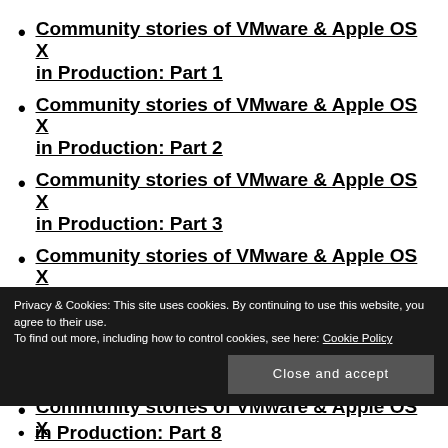Community stories of VMware & Apple OS X in Production: Part 1
Community stories of VMware & Apple OS X in Production: Part 2
Community stories of VMware & Apple OS X in Production: Part 3
Community stories of VMware & Apple OS X in Production: Part 4
Community stories of VMware & Apple OS X in Production: Part 5
Community stories of VMware & Apple OS X in Production: Part 8
Privacy & Cookies: This site uses cookies. By continuing to use this website, you agree to their use.
To find out more, including how to control cookies, see here: Cookie Policy